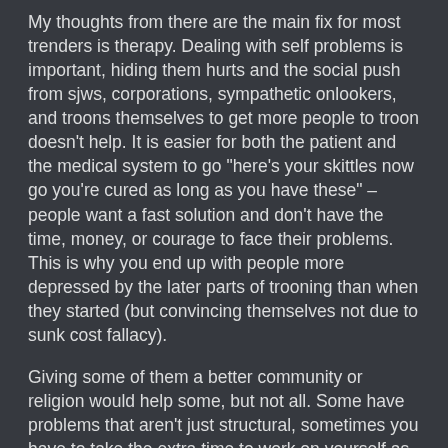My thoughts from there are the main fix for most trenders is therapy. Dealing with self problems is important, hiding them hurts and the social push from sjws, corporations, sympathetic onlookers, and troons themselves to get more people to troon doesn't help. It is easier for both the patient and the medical system to go "here's your skittles now go you're cured as long as you have these" - people want a fast solution and don't have the time, money, or courage to face their problems. This is why you end up with people more depressed by the later parts of trooning than when they started (but convincing themselves not due to sunk cost fallacy).
Giving some of them a better community or religion would help some, but not all. Some have problems that aren't just structural, sometimes you have to take the extra time to work on yourself as well as Jesus or Mohammad's teachings.